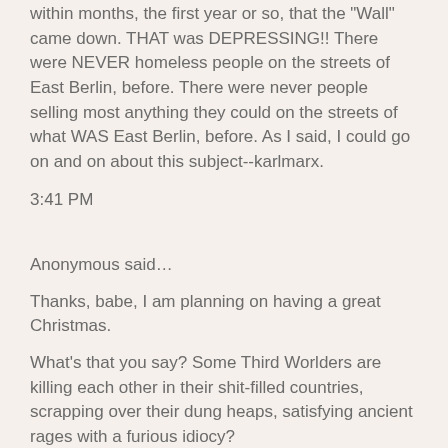within months, the first year or so, that the "Wall" came down. THAT was DEPRESSING!! There were NEVER homeless people on the streets of East Berlin, before. There were never people selling most anything they could on the streets of what WAS East Berlin, before. As I said, I could go on and on about this subject--karlmarx.
3:41 PM
Anonymous said…
Thanks, babe, I am planning on having a great Christmas.
What's that you say? Some Third Worlders are killing each other in their shit-filled countries, scrapping over their dung heaps, satisfying ancient rages with a furious idiocy?
Ho-hum, what else is new?